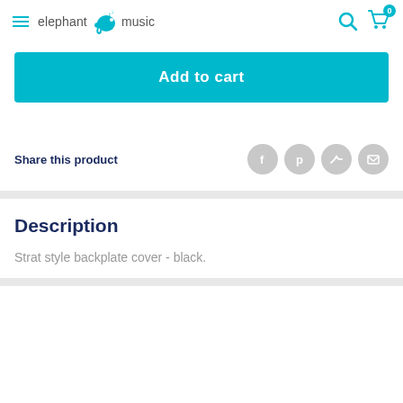elephant music
Add to cart
Share this product
Description
Strat style backplate cover - black.